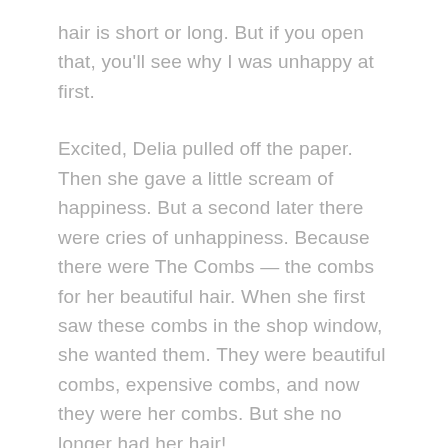hair is short or long. But if you open that, you'll see why I was unhappy at first.
Excited, Delia pulled off the paper. Then she gave a little scream of happiness. But a second later there were cries of unhappiness. Because there were The Combs — the combs for her beautiful hair. When she first saw these combs in the shop window, she wanted them. They were beautiful combs, expensive combs, and now they were her combs. But she no longer had her hair!
Delia picked them up and held them. Her eyes were full of love.